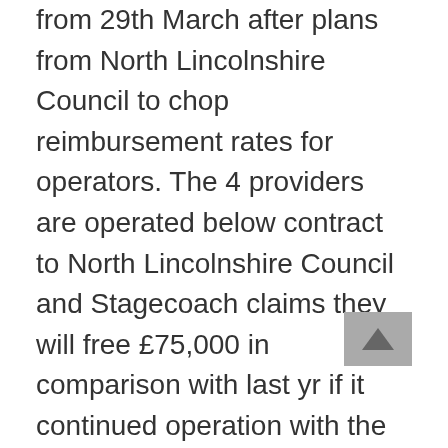from 29th March after plans from North Lincolnshire Council to chop reimbursement rates for operators. The 4 providers are operated below contract to North Lincolnshire Council and Stagecoach claims they will free £75,000 in comparison with last yr if it continued operation with the proposed new reimbursement rates. From Traveline East Midlands it seems that two Thursday solely companies into Brigg are ending after November 1st; the 160 and 202 each operated beneath contract to Lincolnshire County Council by Pc Coaches. The department is now electrified and is operated by a 4-automotive unit which, off-peak, offers loads of area for the comparatively few passengers. Stagecoach have now launched the new timetable for service 12 in North East Lincolnshire, from third September. Clearly the service can only cowl it's variable prices, with the remaining journeys to be operated by fitting the